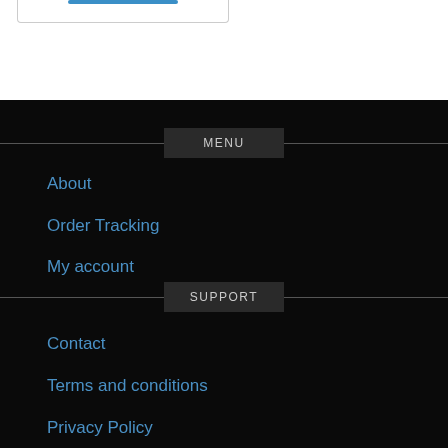MENU
About
Order Tracking
My account
SUPPORT
Contact
Terms and conditions
Privacy Policy